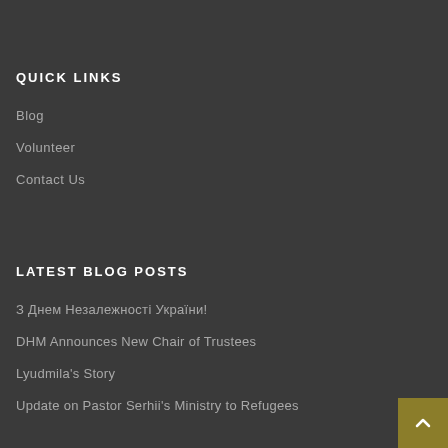QUICK LINKS
Blog
Volunteer
Contact Us
LATEST BLOG POSTS
З Днем Незалежності України!
DHM Announces New Chair of Trustees
Lyudmila's Story
Update on Pastor Serhii's Ministry to Refugees